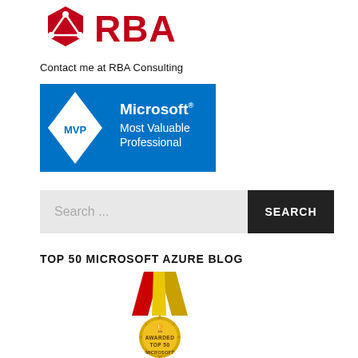[Figure (logo): RBA logo with red hexagon/shield icon and red RBA text]
Contact me at RBA Consulting
[Figure (logo): Microsoft MVP Most Valuable Professional badge - blue square with white diamond containing MVP text]
[Figure (screenshot): Search bar with light grey input showing 'Search ...' placeholder and black SEARCH button]
TOP 50 MICROSOFT AZURE BLOG
[Figure (illustration): Gold award medal with red and gold ribbon, text reading AWARDED TOP 50 MICROSOFT]